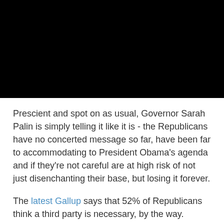[Figure (photo): Black rectangle image at top of page]
Prescient and spot on as usual, Governor Sarah Palin is simply telling it like it is - the Republicans have no concerted message so far, have been far to accommodating to President Obama's agenda and if they're not careful are at high risk of not just disenchanting their base, but losing it forever.
The latest Gallup says that 52% of Republicans think a third party is necessary, by the way.
As the person who was most responsible ( along with